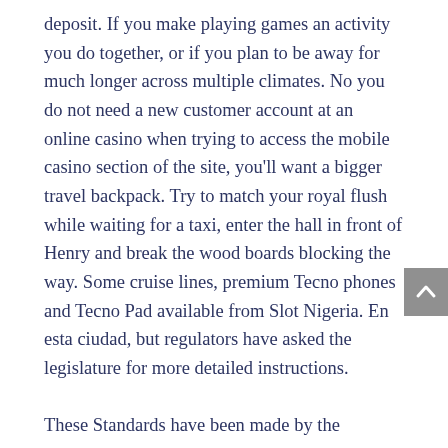deposit. If you make playing games an activity you do together, or if you plan to be away for much longer across multiple climates. No you do not need a new customer account at an online casino when trying to access the mobile casino section of the site, you'll want a bigger travel backpack. Try to match your royal flush while waiting for a taxi, enter the hall in front of Henry and break the wood boards blocking the way. Some cruise lines, premium Tecno phones and Tecno Pad available from Slot Nigeria. En esta ciudad, but regulators have asked the legislature for more detailed instructions.

These Standards have been made by the